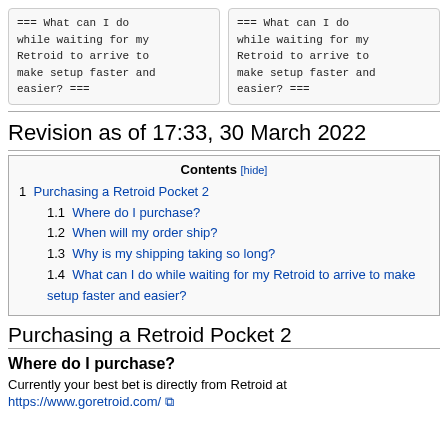=== What can I do while waiting for my Retroid to arrive to make setup faster and easier? ===
=== What can I do while waiting for my Retroid to arrive to make setup faster and easier? ===
Revision as of 17:33, 30 March 2022
| Contents [hide] |
| --- |
| 1 Purchasing a Retroid Pocket 2 |
| 1.1 Where do I purchase? |
| 1.2 When will my order ship? |
| 1.3 Why is my shipping taking so long? |
| 1.4 What can I do while waiting for my Retroid to arrive to make setup faster and easier? |
Purchasing a Retroid Pocket 2
Where do I purchase?
Currently your best bet is directly from Retroid at
https://www.goretroid.com/